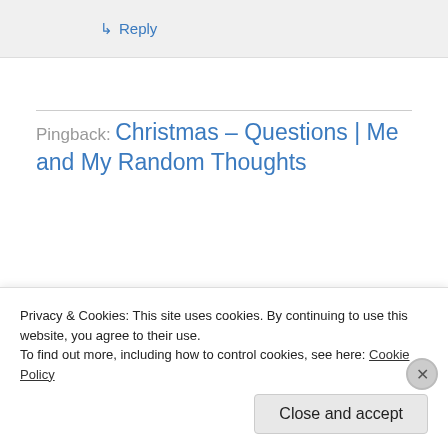↳ Reply
Pingback: Christmas – Questions | Me and My Random Thoughts
•
Bikram
[Figure (photo): Two images side by side: left is a dark letter board sign reading 'STOP TRYING TO MAKE EVERYONE HAPPY', right is a close-up photo of an eagle's face.]
Privacy & Cookies: This site uses cookies. By continuing to use this website, you agree to their use.
To find out more, including how to control cookies, see here: Cookie Policy
Close and accept